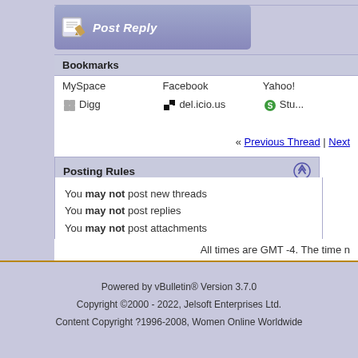[Figure (other): Post Reply button with pencil/paper icon]
Bookmarks
| MySpace | Facebook | Yahoo! |
| [Digg icon] Digg | [del.icio.us icon] del.icio.us | [StumbleUpon icon] Stu... |
« Previous Thread | Next
Posting Rules
You may not post new threads
You may not post replies
You may not post attachments
You may not edit your posts
BB code is On
Smilies are On
[IMG] code is On
HTML code is On
All times are GMT -4. The time n
Powered by vBulletin® Version 3.7.0
Copyright ©2000 - 2022, Jelsoft Enterprises Ltd.
Content Copyright ?1996-2008, Women Online Worldwide